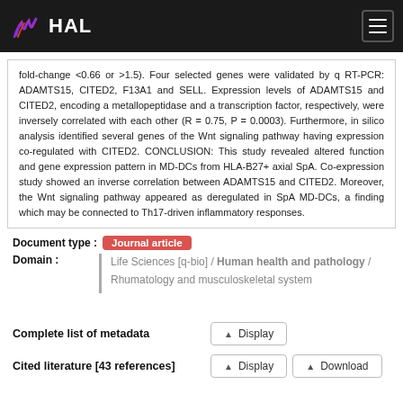HAL
fold-change <0.66 or >1.5). Four selected genes were validated by q RT-PCR: ADAMTS15, CITED2, F13A1 and SELL. Expression levels of ADAMTS15 and CITED2, encoding a metallopeptidase and a transcription factor, respectively, were inversely correlated with each other (R = 0.75, P = 0.0003). Furthermore, in silico analysis identified several genes of the Wnt signaling pathway having expression co-regulated with CITED2. CONCLUSION: This study revealed altered function and gene expression pattern in MD-DCs from HLA-B27+ axial SpA. Co-expression study showed an inverse correlation between ADAMTS15 and CITED2. Moreover, the Wnt signaling pathway appeared as deregulated in SpA MD-DCs, a finding which may be connected to Th17-driven inflammatory responses.
Document type : Journal article
Domain : Life Sciences [q-bio] / Human health and pathology / Rhumatology and musculoskeletal system
Complete list of metadata
Cited literature [43 references]